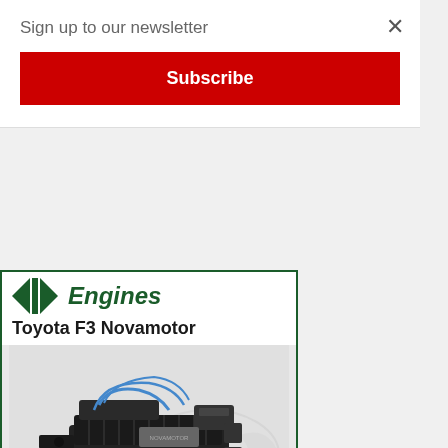Sign up to our newsletter
×
Subscribe
[Figure (illustration): ATK Engines advertisement showing a Toyota F3 Novamotor engine (black racing engine with blue wiring and multiple components visible), with text 'Toyota F3 Novamotor' at top and 'Parts & Build Services' at bottom, framed by a dark green border with ATK logo.]